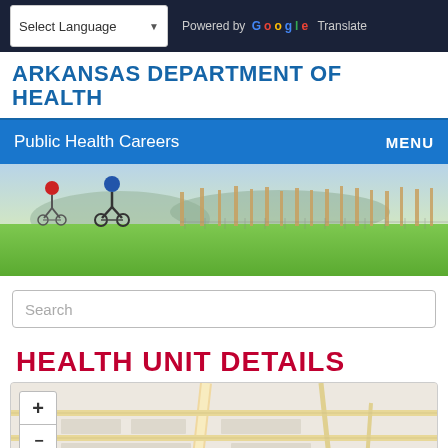Select Language | Powered by Google Translate
ARKANSAS DEPARTMENT OF HEALTH
Public Health Careers
[Figure (photo): Two cyclists riding bikes on a green field with a row of bare trees and mountains in the background.]
Search
HEALTH UNIT DETAILS
[Figure (map): Street map showing a road network with a zoom in/out control on the left side.]